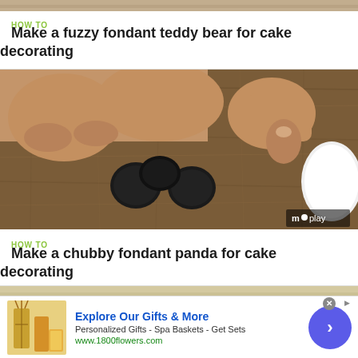[Figure (photo): Cropped top strip of a wooden surface or baking background]
HOW TO
Make a fuzzy fondant teddy bear for cake decorating
[Figure (screenshot): Video thumbnail showing hands pressing dark fondant balls on a wooden board, with white fondant to the right. Monkey logo watermark visible in bottom right.]
HOW TO
Make a chubby fondant panda for cake decorating
[Figure (photo): Partial third article image strip showing light colored background]
Explore Our Gifts & More
Personalized Gifts - Spa Baskets - Get Sets
www.1800flowers.com